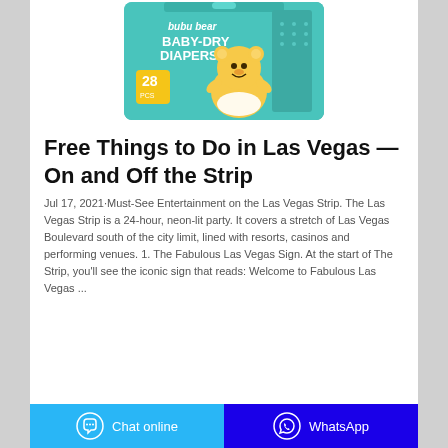[Figure (photo): Product image of bubu bear Baby-Dry Diapers package (28 count), teal/turquoise colored box with cartoon bear mascot character wearing a diaper]
Free Things to Do in Las Vegas — On and Off the Strip
Jul 17, 2021·Must-See Entertainment on the Las Vegas Strip. The Las Vegas Strip is a 24-hour, neon-lit party. It covers a stretch of Las Vegas Boulevard south of the city limit, lined with resorts, casinos and performing venues. 1. The Fabulous Las Vegas Sign. At the start of The Strip, you'll see the iconic sign that reads: Welcome to Fabulous Las Vegas ...